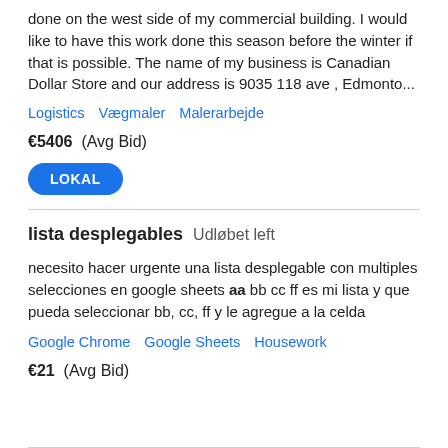done on the west side of my commercial building. I would like to have this work done this season before the winter if that is possible. The name of my business is Canadian Dollar Store and our address is 9035 118 ave , Edmonto...
Logistics   Vægmaler   Malerarbejde
€5406  (Avg Bid)
LOKAL
lista desplegables   Udløbet left
necesito hacer urgente una lista desplegable con multiples selecciones en google sheets aa bb cc ff es mi lista y que pueda seleccionar bb, cc, ff y le agregue a la celda
Google Chrome   Google Sheets   Housework
€21  (Avg Bid)